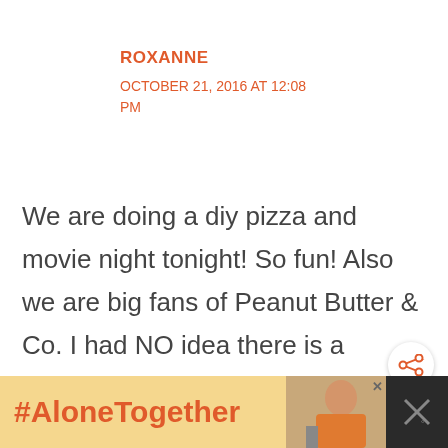ROXANNE
OCTOBER 21, 2016 AT 12:08 PM
We are doing a diy pizza and movie night tonight! So fun! Also we are big fans of Peanut Butter & Co. I had NO idea there is a pumpkin spice flavor! Adding to my list!
[Figure (other): Share button icon (circle with share symbol)]
[Figure (other): Advertisement banner: #AloneTogether with image of woman and close buttons]